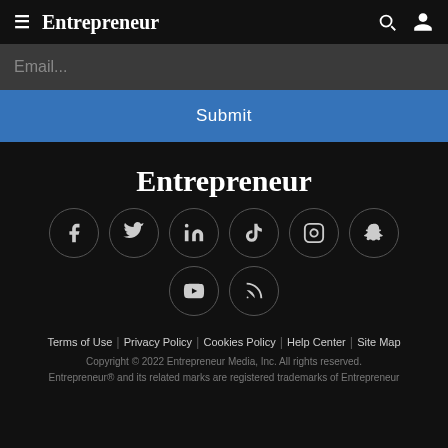Entrepreneur
Email...
Submit
Entrepreneur
[Figure (illustration): Social media icons in circles: Facebook, Twitter, LinkedIn, TikTok, Instagram, Snapchat, YouTube, RSS]
Terms of Use | Privacy Policy | Cookies Policy | Help Center | Site Map
Copyright © 2022 Entrepreneur Media, Inc. All rights reserved.
Entrepreneur® and its related marks are registered trademarks of Entrepreneur